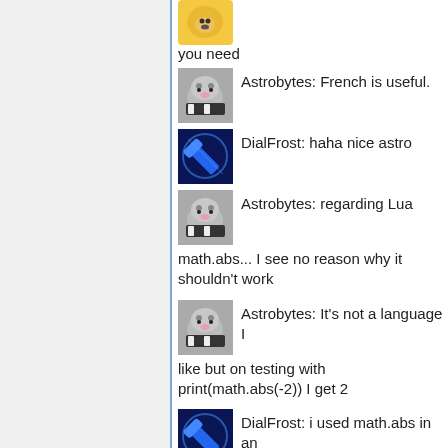[Figure (illustration): Yellow cat/animal emoji avatar at top]
you need
[Figure (photo): Cat playing piano avatar]
Astrobytes: French is useful.
[Figure (illustration): Blue glowing pickaxe avatar]
DialFrost: haha nice astro
[Figure (photo): Cat playing piano avatar]
Astrobytes: regarding Lua math.abs... I see no reason why it shouldn't work
[Figure (photo): Cat playing piano avatar]
Astrobytes: It's not a language I like but on testing with print(math.abs(-2)) I get 2
[Figure (illustration): Blue glowing pickaxe avatar]
DialFrost: i used math.abs in an if statement